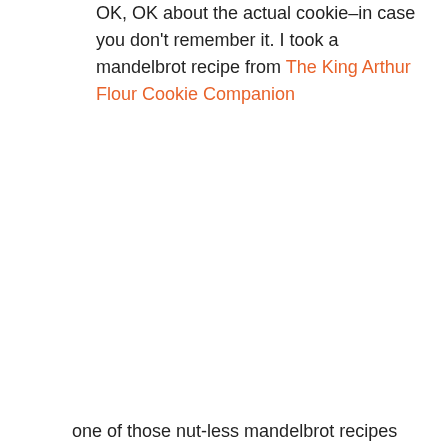OK, OK about the actual cookie–in case you don't remember it.  I took a mandelbrot recipe from The King Arthur Flour Cookie Companion
one of those nut-less mandelbrot recipes that has